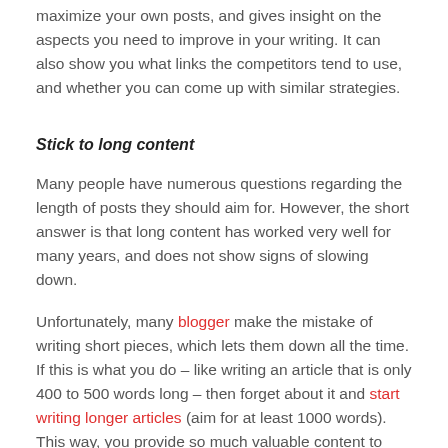maximize your own posts, and gives insight on the aspects you need to improve in your writing. It can also show you what links the competitors tend to use, and whether you can come up with similar strategies.
Stick to long content
Many people have numerous questions regarding the length of posts they should aim for. However, the short answer is that long content has worked very well for many years, and does not show signs of slowing down.
Unfortunately, many blogger make the mistake of writing short pieces, which lets them down all the time. If this is what you do – like writing an article that is only 400 to 500 words long – then forget about it and start writing longer articles (aim for at least 1000 words). This way, you provide so much valuable content to your reader, they will want to share that knowledge with their friends and family.